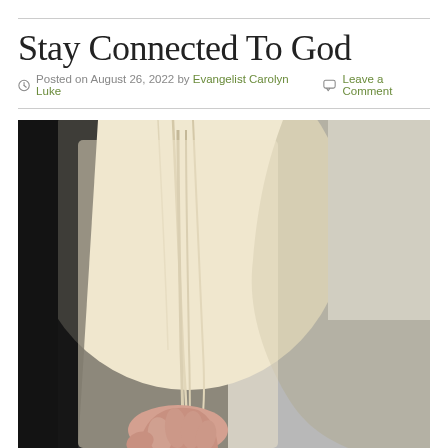Stay Connected To God
Posted on August 26, 2022 by Evangelist Carolyn Luke  Leave a Comment
[Figure (photo): Close-up photograph of a person in a cream/ivory knit cardigan reaching out a hand toward the viewer, photographed against a light grey background. The image focuses on the torso and extended hand.]